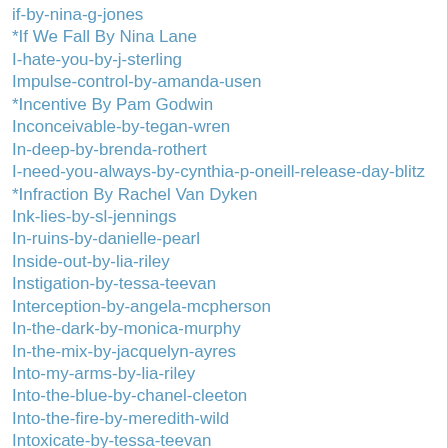if-by-nina-g-jones
*If We Fall By Nina Lane
I-hate-you-by-j-sterling
Impulse-control-by-amanda-usen
*Incentive By Pam Godwin
Inconceivable-by-tegan-wren
In-deep-by-brenda-rothert
I-need-you-always-by-cynthia-p-oneill-release-day-blitz
*Infraction By Rachel Van Dyken
Ink-lies-by-sl-jennings
In-ruins-by-danielle-pearl
Inside-out-by-lia-riley
Instigation-by-tessa-teevan
Interception-by-angela-mcpherson
In-the-dark-by-monica-murphy
In-the-mix-by-jacquelyn-ayres
Into-my-arms-by-lia-riley
Into-the-blue-by-chanel-cleeton
Into-the-fire-by-meredith-wild
Intoxicate-by-tessa-teevan
Invincible-summer-by-seth-king
*Iron Princess By Meghan March